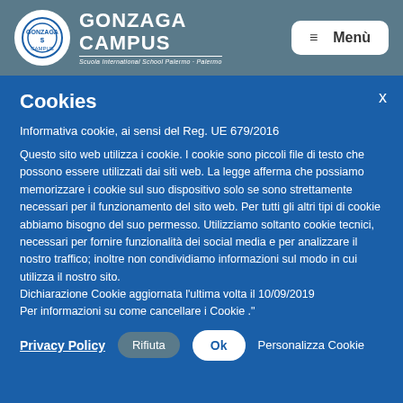[Figure (logo): Gonzaga Campus school logo with circular emblem and text 'GONZAGA CAMPUS - Scuola International School Palermo - Palermo']
≡ Menù
Cookies
Informativa cookie, ai sensi del Reg. UE 679/2016
Questo sito web utilizza i cookie. I cookie sono piccoli file di testo che possono essere utilizzati dai siti web. La legge afferma che possiamo memorizzare i cookie sul suo dispositivo solo se sono strettamente necessari per il funzionamento del sito web. Per tutti gli altri tipi di cookie abbiamo bisogno del suo permesso. Utilizziamo soltanto cookie tecnici, necessari per fornire funzionalità dei social media e per analizzare il nostro traffico; inoltre non condividiamo informazioni sul modo in cui utilizza il nostro sito.
Dichiarazione Cookie aggiornata l'ultima volta il 10/09/2019
Per informazioni su come cancellare i Cookie ."
Privacy Policy | Rifiuta | Ok | Personalizza Cookie